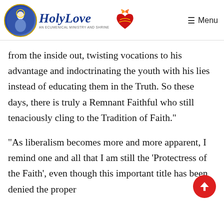HolyLove — An Ecumenical Ministry and Shrine | Menu
from the inside out, twisting vocations to his advantage and indoctrinating the youth with his lies instead of educating them in the Truth. So these days, there is truly a Remnant Faithful who still tenaciously cling to the Tradition of Faith."
"As liberalism becomes more and more apparent, I remind one and all that I am still the 'Protectress of the Faith', even though this important title has been denied the proper